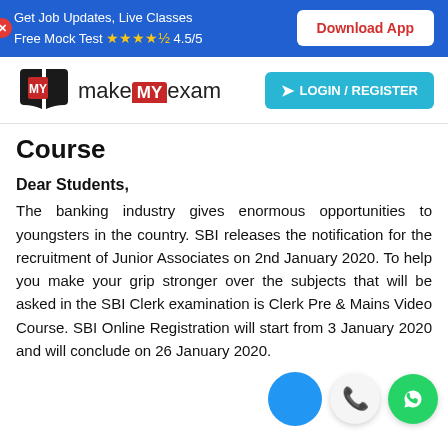Get Job Updates, Live Classes Free Mock Test ★★★★½ 4.5/5 | Download App
[Figure (logo): makeMYexam logo with open book icon]
Course
Dear Students, The banking industry gives enormous opportunities to youngsters in the country. SBI releases the notification for the recruitment of Junior Associates on 2nd January 2020. To help you make your grip stronger over the subjects that will be asked in the SBI Clerk examination is Clerk Pre & Mains Video Course. SBI Online Registration will start from 3 January 2020 and will conclude on 26 January 2020.